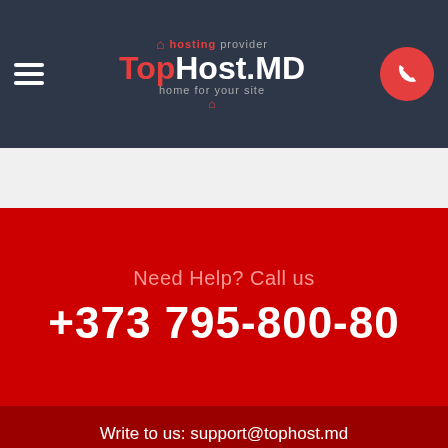[Figure (logo): TopHost.MD hosting provider logo with hamburger menu and phone button on dark navy header]
Need Help? Call us
+373 795-800-80
Write to us: support@tophost.md
Knowledgebase
Support